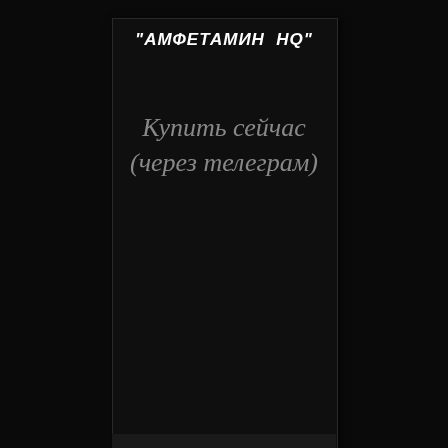"АМФЕТАМИН  HQ"
Купить сейчас (через телеграм)